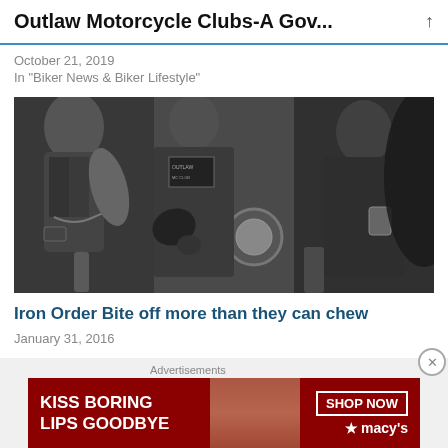Outlaw Motorcycle Clubs-A Gov...
October 21, 2019
In "Biker News & Biker Lifestyle"
[Figure (photo): Black and white photograph of outlaw motorcycle club members in leather vests, showing tattoos, chains, and motorcycle parts.]
Iron Order Bite off more than they can chew
January 31, 2016
Advertisements
[Figure (other): Advertisement banner for Macy's lipstick product with text 'KISS BORING LIPS GOODBYE' and 'SHOP NOW' button with Macy's logo, showing woman's face with red lips on dark red background.]